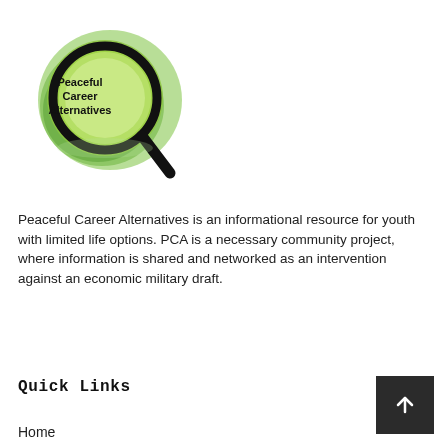[Figure (logo): Peaceful Career Alternatives logo: a magnifying glass over a green circular background with the text 'Peaceful Career Alternatives' inside the lens.]
Peaceful Career Alternatives is an informational resource for youth with limited life options. PCA is a necessary community project, where information is shared and networked as an intervention against an economic military draft.
Quick Links
Home